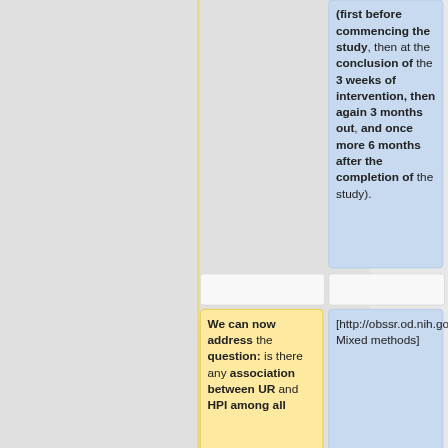(first before commencing the study, then at the conclusion of the 3 weeks of intervention, then again 3 months out, and once more 6 months after the completion of the study).
We can now address the question: is there any association between UR and HPI among all
[http://obssr.od.nih.gov/scientific_areas/methodology/mixed_methods_research/section2.aspx Mixed methods]